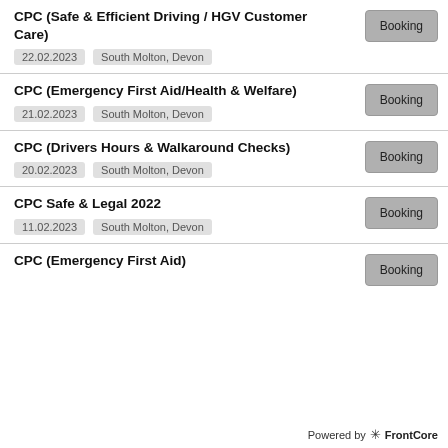CPC (Safe & Efficient Driving / HGV Customer Care)
22.02.2023 | South Molton, Devon
CPC (Emergency First Aid/Health & Welfare)
21.02.2023 | South Molton, Devon
CPC (Drivers Hours & Walkaround Checks)
20.02.2023 | South Molton, Devon
CPC Safe & Legal 2022
11.02.2023 | South Molton, Devon
CPC (Emergency First Aid)
Powered by FrontCore